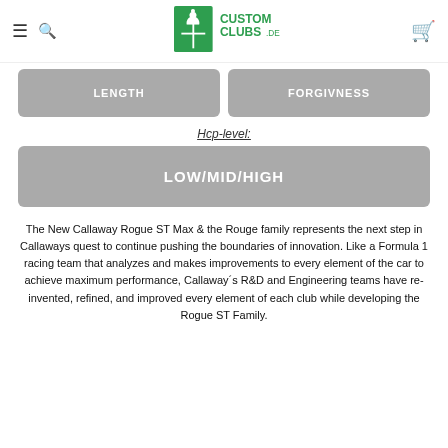Custom Clubs DE
| LENGTH | FORGIVNESS |
| --- | --- |
Hcp-level:
LOW/MID/HIGH
The New Callaway Rogue ST Max & the Rouge family represents the next step in Callaways quest to continue pushing the boundaries of innovation. Like a Formula 1 racing team that analyzes and makes improvements to every element of the car to achieve maximum performance, Callaway´s R&D and Engineering teams have re-invented, refined, and improved every element of each club while developing the Rogue ST Family.